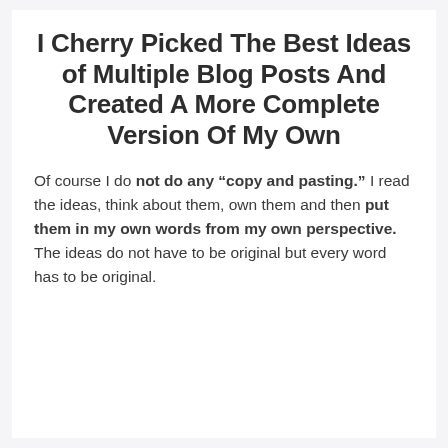I Cherry Picked The Best Ideas of Multiple Blog Posts And Created A More Complete Version Of My Own
Of course I do not do any "copy and pasting." I read the ideas, think about them, own them and then put them in my own words from my own perspective. The ideas do not have to be original but every word has to be original.